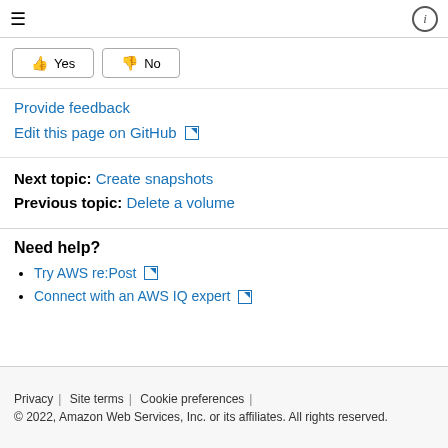≡ ⓘ
[Figure (other): Two feedback buttons: thumbs up Yes and thumbs down No]
Provide feedback
Edit this page on GitHub ↗
Next topic: Create snapshots
Previous topic: Delete a volume
Need help?
Try AWS re:Post ↗
Connect with an AWS IQ expert ↗
Privacy | Site terms | Cookie preferences | © 2022, Amazon Web Services, Inc. or its affiliates. All rights reserved.